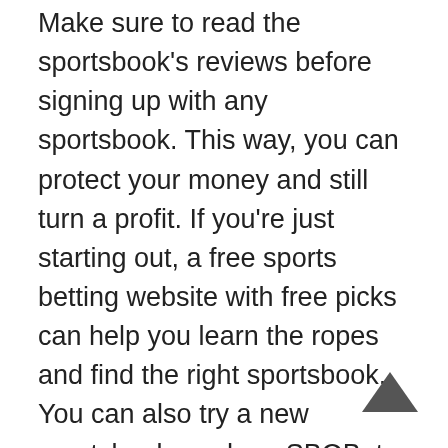Make sure to read the sportsbook's reviews before signing up with any sportsbook. This way, you can protect your money and still turn a profit. If you're just starting out, a free sports betting website with free picks can help you learn the ropes and find the right sportsbook. You can also try a new sportsbook, such as SBOBet.
Before you start betting on sports, make sure you're legally allowed to gamble in your country. Then, make sure that you select a sportsbook that accepts your preferred method of payment, including cryptocurrency. Customer support is another important feature to look for. Make sure to